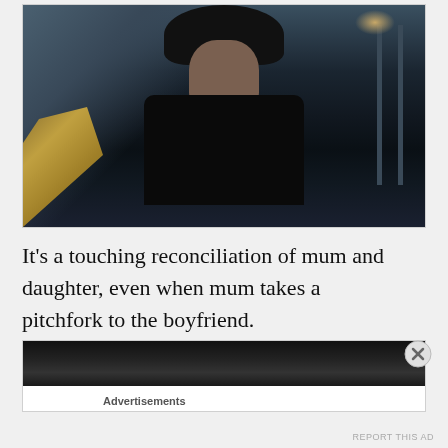[Figure (photo): A person with dark hair leaning forward with an anguished or shocked expression, dark jacket, inside a barn or shed setting with hay visible on the left and cage bars on the right, dim blue-toned lighting.]
It's a touching reconciliation of mum and daughter, even when mum takes a pitchfork to the boyfriend.
[Figure (photo): Advertisement banner image, dark/black background, partially visible.]
Advertisements
REPORT THIS AD